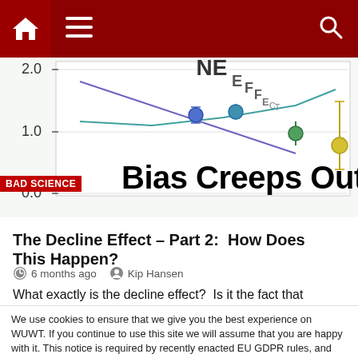[Figure (screenshot): Website navigation bar with dark red background, home icon, hamburger menu, and search icon]
[Figure (continuous-plot): Partial scientific chart showing y-axis values 0.0, 1.0, 2.0 and text 'NE' and subscript 'EFF ECT' with scatter plot data points in blue, green, teal, yellow, overlaid with headline 'Bias Creeps Out' and 'BAD SCIENCE' badge]
The Decline Effect – Part 2:  How Does This Happen?
6 months ago   Kip Hansen
What exactly is the decline effect?  Is it the fact that
We use cookies to ensure that we give you the best experience on WUWT. If you continue to use this site we will assume that you are happy with it. This notice is required by recently enacted EU GDPR rules, and since WUWT is a globally read website, we need to keep the bureaucrats off our case! Cookie Policy
Close and accept